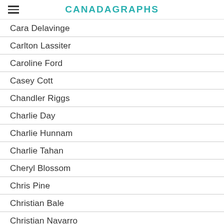CANADAGRAPHS
Cara Delavinge
Carlton Lassiter
Caroline Ford
Casey Cott
Chandler Riggs
Charlie Day
Charlie Hunnam
Charlie Tahan
Cheryl Blossom
Chris Pine
Christian Bale
Christian Navarro
Christian Slater
Christina Hendricks
Christina Moses